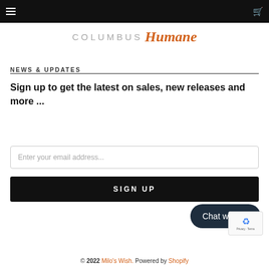Columbus Humane
NEWS & UPDATES
Sign up to get the latest on sales, new releases and more ...
Enter your email address...
SIGN UP
Chat with us
© 2022 Milo's Wish. Powered by Shopify